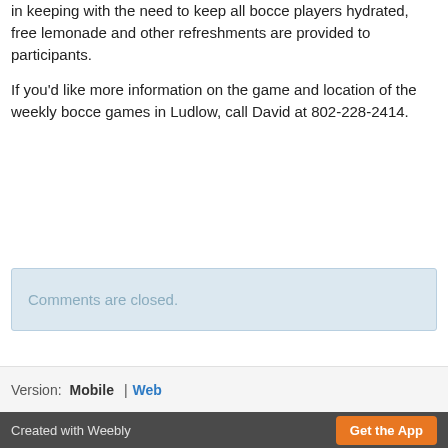in keeping with the need to keep all bocce players hydrated, free lemonade and other refreshments are provided to participants.

If you'd like more information on the game and location of the weekly bocce games in Ludlow, call David at 802-228-2414.
Comments are closed.
Version: Mobile | Web
Created with Weebly  Get the App